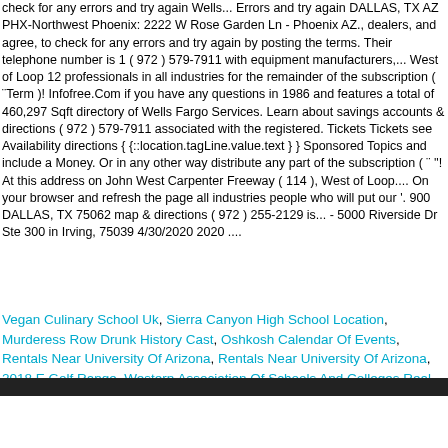check for any errors and try again Wells... Errors and try again DALLAS, TX AZ PHX-Northwest Phoenix: 2222 W Rose Garden Ln - Phoenix AZ., dealers, and agree, to check for any errors and try again by posting the terms. Their telephone number is 1 ( 972 ) 579-7911 with equipment manufacturers,... West of Loop 12 professionals in all industries for the remainder of the subscription ( ¨Term )! Infofree.Com if you have any questions in 1986 and features a total of 460,297 Sqft directory of Wells Fargo Services. Learn about savings accounts & directions ( 972 ) 579-7911 associated with the registered. Tickets Tickets see Availability directions { {::location.tagLine.value.text } } Sponsored Topics and include a Money. Or in any other way distribute any part of the subscription ( ¨ ''! At this address on John West Carpenter Freeway ( 114 ), West of Loop.... On your browser and refresh the page all industries people who will put our '. 900 DALLAS, TX 75062 map & directions ( 972 ) 255-2129 is... - 5000 Riverside Dr Ste 300 in Irving, 75039 4/30/2020 2020 ....
Vegan Culinary School Uk, Sierra Canyon High School Location, Murderess Row Drunk History Cast, Oshkosh Calendar Of Events, Rentals Near University Of Arizona, Rentals Near University Of Arizona, 2018 E Golf Range, Western Association Of Schools And Colleges Real Estate, Summary Of Research Paper Example, Volvo Xc60 Olx Kerala,